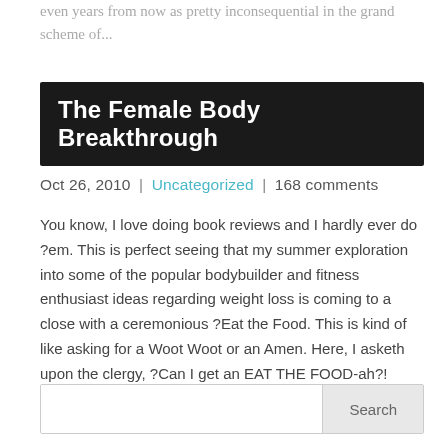even years from now as pretty inconsequential in the grand scheme of...
The Female Body Breakthrough
Oct 26, 2010 | Uncategorized | 168 comments
You know, I love doing book reviews and I hardly ever do ?em. This is perfect seeing that my summer exploration into some of the popular bodybuilder and fitness enthusiast ideas regarding weight loss is coming to a close with a ceremonious ?Eat the Food. This is kind of like asking for a Woot Woot or an Amen. Here, I asketh upon the clergy, ?Can I get an EAT THE FOOD-ah?! Actually, if we are...